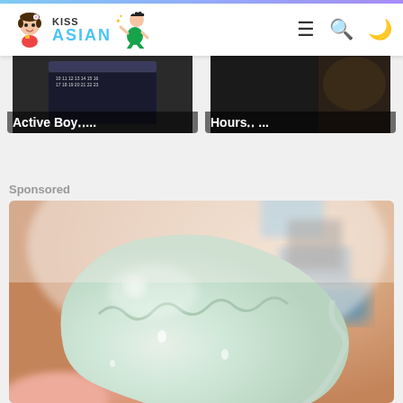KISS ASIAN
[Figure (screenshot): Thumbnail showing 'Active Boy...' with calendar in background]
[Figure (screenshot): Thumbnail showing 'Hours...' with dark background]
Sponsored
[Figure (photo): Close-up photo of a pale green/translucent dumpling or food item held in hand, with blurred colorful background]